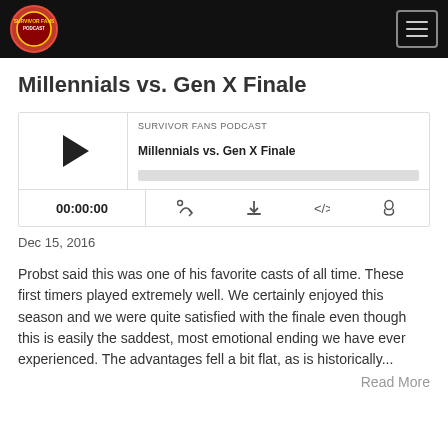[Figure (logo): Survivor Fans Podcast logo in header bar]
Millennials vs. Gen X Finale
[Figure (screenshot): Podcast audio player widget showing SURVIVOR FANS PODCAST, episode Millennials vs. Gen X Finale, play button, progress bar, time 00:00:00, and control icons]
Dec 15, 2016
Probst said this was one of his favorite casts of all time. These first timers played extremely well. We certainly enjoyed this season and we were quite satisfied with the finale even though this is easily the saddest, most emotional ending we have ever experienced. The advantages fell a bit flat, as is historically...
Read More